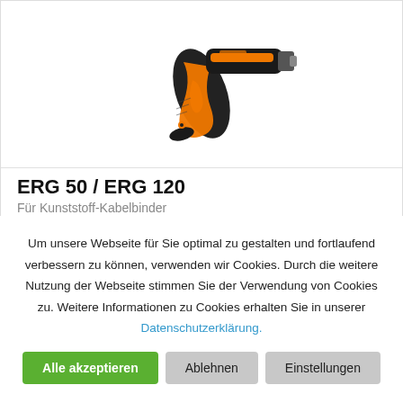[Figure (photo): Orange and black cable tie gun tool (ERG 50 / ERG 120) photographed on white background]
ERG 50 / ERG 120
Für Kunststoff-Kabelbinder
Um unsere Webseite für Sie optimal zu gestalten und fortlaufend verbessern zu können, verwenden wir Cookies. Durch die weitere Nutzung der Webseite stimmen Sie der Verwendung von Cookies zu. Weitere Informationen zu Cookies erhalten Sie in unserer Datenschutzerklärung.
Alle akzeptieren
Ablehnen
Einstellungen